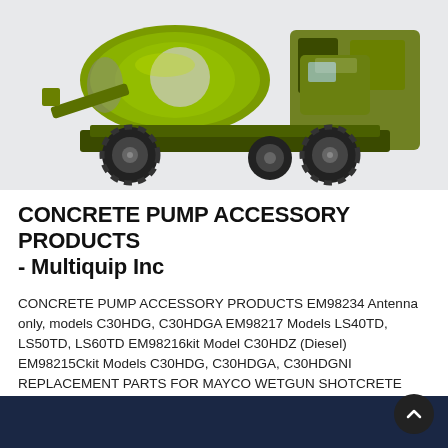[Figure (photo): Green Multiquip concrete mixer/pump machine on white-gray background, shown from front-right angle with large drum and off-road tires]
CONCRETE PUMP ACCESSORY PRODUCTS - Multiquip Inc
CONCRETE PUMP ACCESSORY PRODUCTS EM98234 Antenna only, models C30HDG, C30HDGA EM98217 Models LS40TD, LS50TD, LS60TD EM98216kit Model C30HDZ (Diesel) EM98215Ckit Models C30HDG, C30HDGA, C30HDGNI REPLACEMENT PARTS FOR MAYCO WETGUN SHOTCRETE NOZZLE Part number 2.0" 3.0"
Learn More